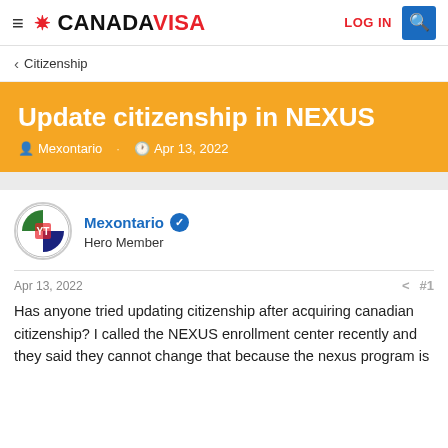≡ ❋ CANADA VISA  LOG IN 🔍
< Citizenship
Update citizenship in NEXUS
Mexontario · Apr 13, 2022
Mexontario
Hero Member
Apr 13, 2022  #1
Has anyone tried updating citizenship after acquiring canadian citizenship? I called the NEXUS enrollment center recently and they said they cannot change that because the nexus program is